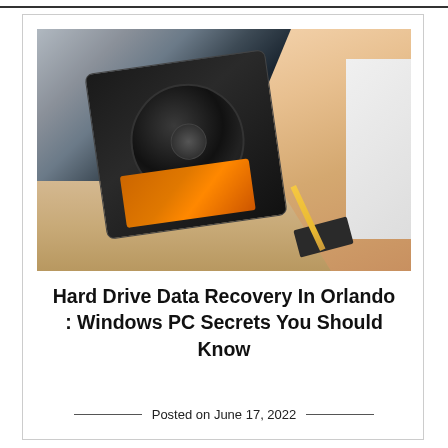[Figure (photo): A hand holding an open hard drive (HDD) showing its internal components including the platter and orange circuit board, with tools on a desk in the background.]
Hard Drive Data Recovery In Orlando : Windows PC Secrets You Should Know
Posted on June 17, 2022